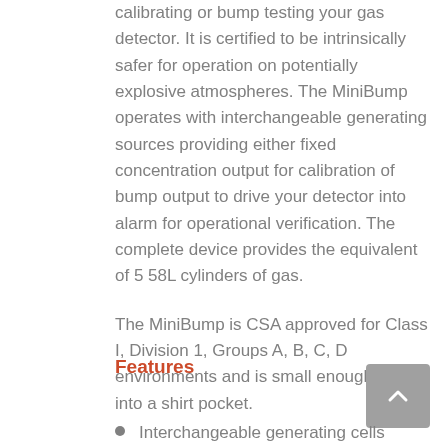calibrating or bump testing your gas detector. It is certified to be intrinsically safer for operation on potentially explosive atmospheres. The MiniBump operates with interchangeable generating sources providing either fixed concentration output for calibration of bump output to drive your detector into alarm for operational verification. The complete device provides the equivalent of 5 58L cylinders of gas.
The MiniBump is CSA approved for Class I, Division 1, Groups A, B, C, D environments and is small enough to fit into a shirt pocket.
Features
Interchangeable generating cells